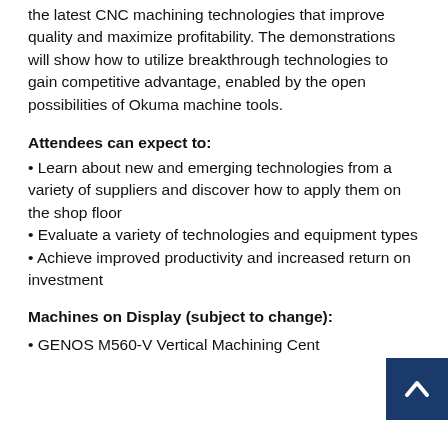the latest CNC machining technologies that improve quality and maximize profitability. The demonstrations will show how to utilize breakthrough technologies to gain competitive advantage, enabled by the open possibilities of Okuma machine tools.
Attendees can expect to:
• Learn about new and emerging technologies from a variety of suppliers and discover how to apply them on the shop floor
• Evaluate a variety of technologies and equipment types
• Achieve improved productivity and increased return on investment
Machines on Display (subject to change):
• GENOS M560-V Vertical Machining Cent...